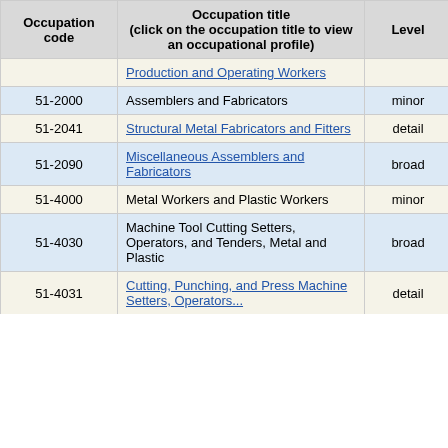| Occupation code | Occupation title (click on the occupation title to view an occupational profile) | Level | Employment | Employment RSE |
| --- | --- | --- | --- | --- |
|  | Production and Operating Workers |  |  |  |
| 51-2000 | Assemblers and Fabricators | minor | 1,360 | 16 |
| 51-2041 | Structural Metal Fabricators and Fitters | detail | 900 | 23 |
| 51-2090 | Miscellaneous Assemblers and Fabricators | broad | 450 | 23 |
| 51-4000 | Metal Workers and Plastic Workers | minor | 6,350 | 9 |
| 51-4030 | Machine Tool Cutting Setters, Operators, and Tenders, Metal and Plastic | broad | 110 | 43 |
| 51-4031 | Cutting, Punching, and Press Machine Setters, Operators... | detail | 100 | 46 |